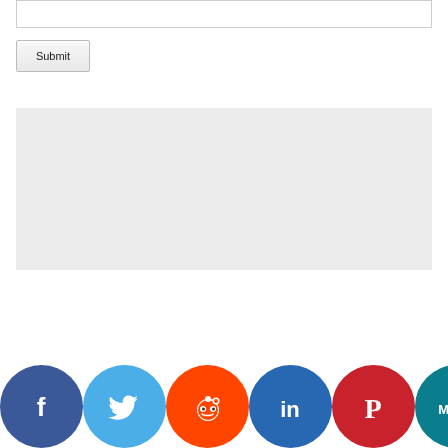[Figure (screenshot): Text input box (form field), empty, with border]
[Figure (screenshot): Submit button, gray gradient style]
[Figure (screenshot): Gray advertisement/content placeholder box]
[Figure (screenshot): Social media sharing icon bar with Facebook, Twitter, Reddit, LinkedIn, Pinterest, MeWe, Mix, WhatsApp, and More icons]